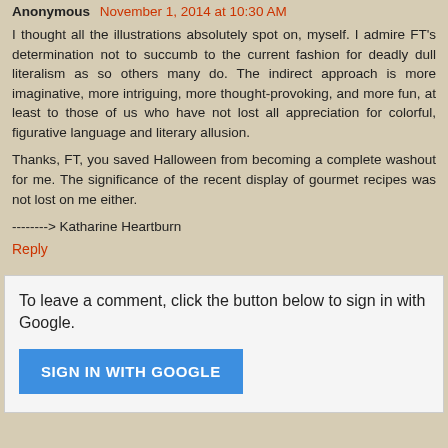Anonymous November 1, 2014 at 10:30 AM
I thought all the illustrations absolutely spot on, myself. I admire FT's determination not to succumb to the current fashion for deadly dull literalism as so others many do. The indirect approach is more imaginative, more intriguing, more thought-provoking, and more fun, at least to those of us who have not lost all appreciation for colorful, figurative language and literary allusion.
Thanks, FT, you saved Halloween from becoming a complete washout for me. The significance of the recent display of gourmet recipes was not lost on me either.
--------> Katharine Heartburn
Reply
To leave a comment, click the button below to sign in with Google.
SIGN IN WITH GOOGLE